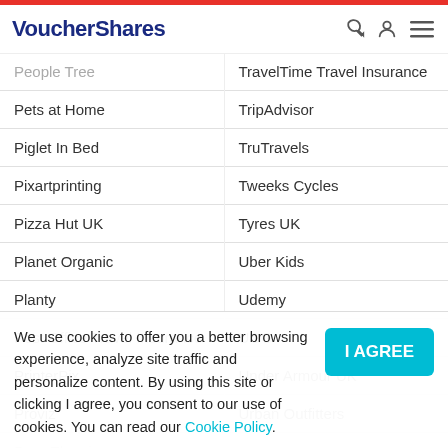VoucherShares
People Tree
Pets at Home
Piglet In Bed
Pixartprinting
Pizza Hut UK
Planet Organic
Planty
Post Office Travel Insurance
PrinterPix
Proviz
TravelTime Travel Insurance
TripAdvisor
TruTravels
Tweeks Cycles
Tyres UK
Uber Kids
Udemy
UGG
Under Armour UK
Urban Outfitters
We use cookies to offer you a better browsing experience, analyze site traffic and personalize content. By using this site or clicking I agree, you consent to our use of cookies. You can read our Cookie Policy.